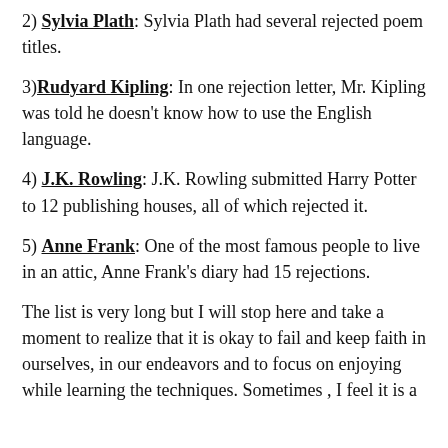2) Sylvia Plath: Sylvia Plath had several rejected poem titles.
3) Rudyard Kipling: In one rejection letter, Mr. Kipling was told he doesn't know how to use the English language.
4) J.K. Rowling: J.K. Rowling submitted Harry Potter to 12 publishing houses, all of which rejected it.
5) Anne Frank: One of the most famous people to live in an attic, Anne Frank's diary had 15 rejections.
The list is very long but I will stop here and take a moment to realize that it is okay to fail and keep faith in ourselves, in our endeavors and to focus on enjoying while learning the techniques. Sometimes , I feel it is a